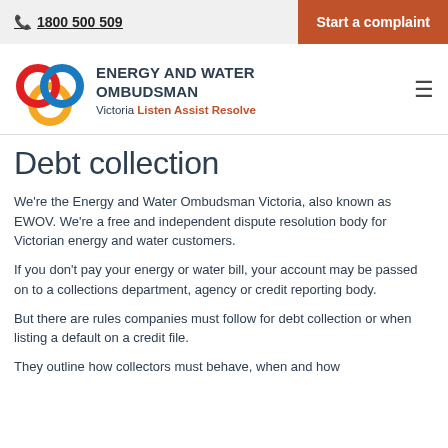1800 500 509 | Start a complaint
[Figure (logo): Energy and Water Ombudsman Victoria logo with interlocking red, blue, and orange circles]
Debt collection
We're the Energy and Water Ombudsman Victoria, also known as EWOV. We're a free and independent dispute resolution body for Victorian energy and water customers.
If you don't pay your energy or water bill, your account may be passed on to a collections department, agency or credit reporting body.
But there are rules companies must follow for debt collection or when listing a default on a credit file.
They outline how collectors must behave, when and how